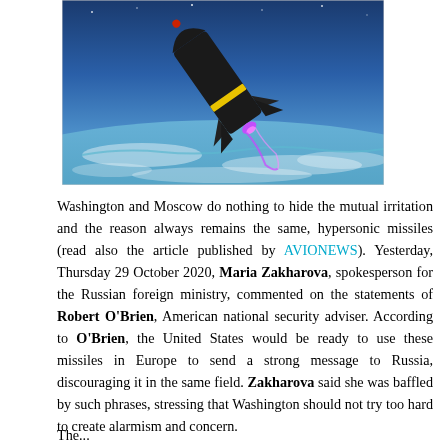[Figure (photo): A hypersonic missile photographed from above against a backdrop of Earth's surface, ocean and coastline visible below. The missile is dark/black with a yellow band and glowing exhaust/plasma trail.]
Washington and Moscow do nothing to hide the mutual irritation and the reason always remains the same, hypersonic missiles (read also the article published by AVIONEWS). Yesterday, Thursday 29 October 2020, Maria Zakharova, spokesperson for the Russian foreign ministry, commented on the statements of Robert O'Brien, American national security adviser. According to O'Brien, the United States would be ready to use these missiles in Europe to send a strong message to Russia, discouraging it in the same field. Zakharova said she was baffled by such phrases, stressing that Washington should not try too hard to create alarmism and concern.
The...